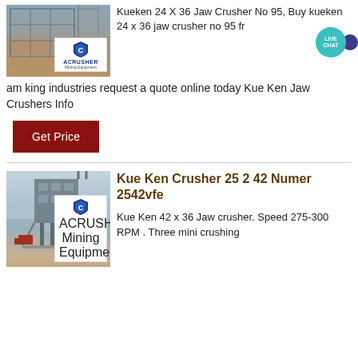[Figure (photo): Industrial mining/construction facility with large concrete structure, ACRUSHER Mining Equipment logo overlay]
Kueken 24 X 36 Jaw Crusher No 95, Buy kueken 24 x 36 jaw crusher no 95 from king industries request a quote online today Kue Ken Jaw Crushers Info
Get Price
[Figure (photo): Industrial dust collector or processing plant structure on elevated platform, foggy background, ACRUSHER Mining Equipment logo overlay]
Kue Ken Crusher 25 2 42 Numer 2542vfe
Kue Ken 42 x 36 Jaw crusher. Speed 275-300 RPM . Three mini crushing